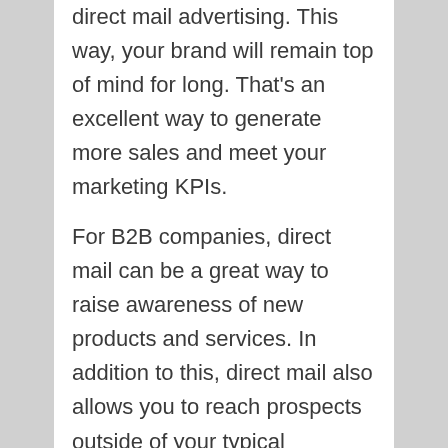direct mail advertising. This way, your brand will remain top of mind for long. That's an excellent way to generate more sales and meet your marketing KPIs.
For B2B companies, direct mail can be a great way to raise awareness of new products and services. In addition to this, direct mail also allows you to reach prospects outside of your typical geographic area. Because direct mail is non-virtual, you can try out different sales messages and different products before making a final decision. It's important to remember that the competition is much less in the mailbox than in the internet. And direct mail is a highly effective way to make sure that you reach the